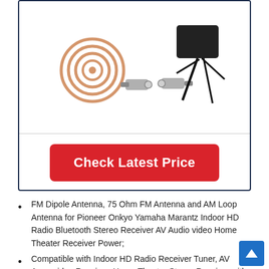[Figure (photo): Product photo showing FM dipole antenna (copper coil), two coaxial connector adapters, and a power adapter with cables, on a white background inside a dark navy-bordered box.]
Check Latest Price
FM Dipole Antenna, 75 Ohm FM Antenna and AM Loop Antenna for Pioneer Onkyo Yamaha Marantz Indoor HD Radio Bluetooth Stereo Receiver AV Audio video Home Theater Receiver Power;
Compatible with Indoor HD Radio Receiver Tuner, AV Audio video Receiver, Home Theater Stereo Receiver with Bluetooth, Home Stereo Receiver, FM Radio Home Ster...